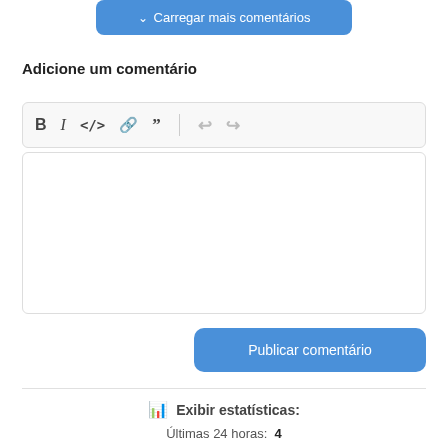[Figure (screenshot): Blue button labeled 'Carregar mais comentários' with a downward chevron icon]
Adicione um comentário
[Figure (screenshot): Rich text editor toolbar with Bold, Italic, Code, Link, Quote, Undo, Redo icons]
[Figure (screenshot): Empty text input area for comment]
[Figure (screenshot): Blue 'Publicar comentário' button]
Exibir estatísticas:
Últimas 24 horas:   4